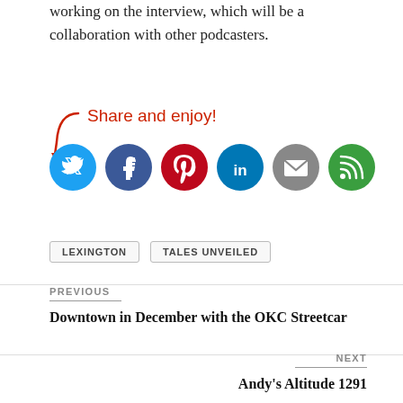working on the interview, which will be a collaboration with other podcasters.
[Figure (infographic): Share and enjoy! label with arrow and social media icons: Twitter (blue), Facebook (dark blue), Pinterest (red), LinkedIn (blue), Email (gray), Feedburner (green)]
LEXINGTON
TALES UNVEILED
PREVIOUS
Downtown in December with the OKC Streetcar
NEXT
Andy's Altitude 1291